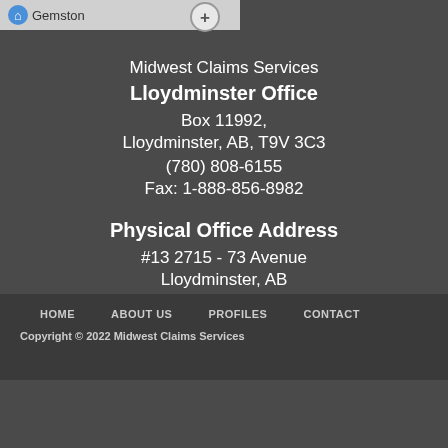[Figure (screenshot): Partial map screenshot with Gemston label and plus zoom button]
Midwest Claims Services
Lloydminster Office
Box 11992,
Lloydminster, AB, T9V 3C3
(780) 808-6155
Fax: 1-888-856-8982
Physical Office Address
#13 2715 - 73 Avenue
Lloydminster, AB
T9V 3L7
Email
HOME   ABOUT US   PROFILES   CONTACT
Copyright © 2022 Midwest Claims Services